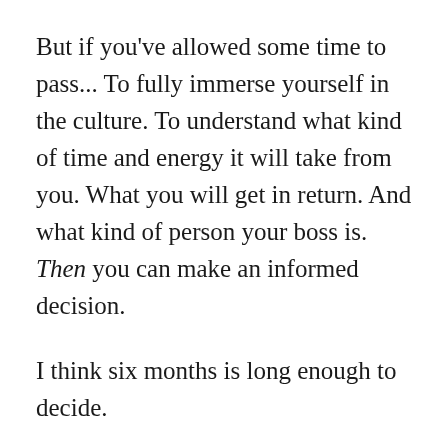But if you've allowed some time to pass... To fully immerse yourself in the culture. To understand what kind of time and energy it will take from you. What you will get in return. And what kind of person your boss is. Then you can make an informed decision.
I think six months is long enough to decide.
Don't wait too long.